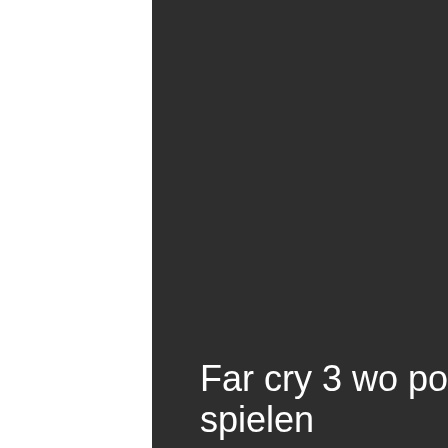[Figure (photo): Dark background panel occupying right portion of the page, appears to be a dark screenshot or photo background used as a title card]
Far cry 3 wo poker spielen
What are the best casino hotels in Las